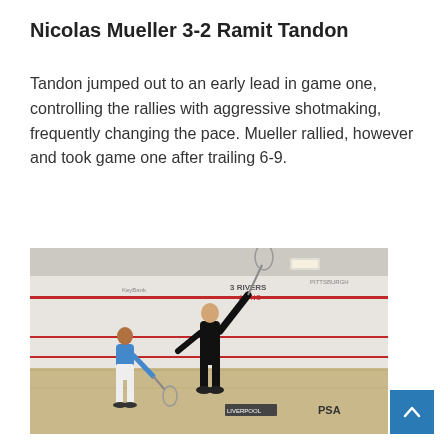Nicolas Mueller 3-2 Ramit Tandon
Tandon jumped out to an early lead in game one, controlling the rallies with aggressive shotmaking, frequently changing the pace. Mueller rallied, however and took game one after trailing 6-9.
[Figure (photo): Two squash players on an indoor squash court. One player in black is reaching up to hit the ball, the other in blue and white is watching from behind. PSA and PNC branding visible on the court walls.]